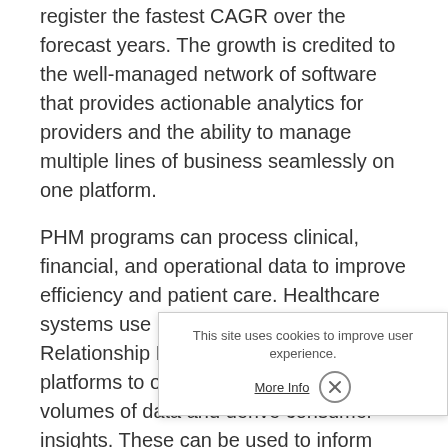register the fastest CAGR over the forecast years. The growth is credited to the well-managed network of software that provides actionable analytics for providers and the ability to manage multiple lines of business seamlessly on one platform.
PHM programs can process clinical, financial, and operational data to improve efficiency and patient care. Healthcare systems use healthcare Customer-Relationship Management (CRM) platforms to organize and analyze large volumes of data and derive consumer insights. These can be used to inform PHM campaigns, leading to personalized patient engagement and improved health outcomes. In May 2020, Allscripts Healthcare, LLC launched CarePort Connect, a new post-discharge tool. The tool is designed to assist hospitals in complying with the interoperability final rules and Medicaid Services.
The services segment currently holds more than 60% of